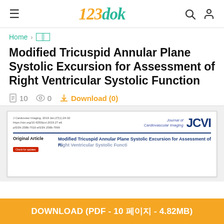123dok
Home > 의학
Modified Tricuspid Annular Plane Systolic Excursion for Assessment of Right Ventricular Systolic Function
10  0  Download (0)
[Figure (screenshot): Preview of journal article page showing Journal of Cardiovascular Imaging (JCVI) header with article citation info, blue horizontal rule, and article title 'Modified Tricuspid Annular Plane Systolic Excursion for Assessment of Right Ventricular Systolic Function' labeled as Original Article]
DOWNLOAD (PDF - 10 페이지 - 4.82MB)